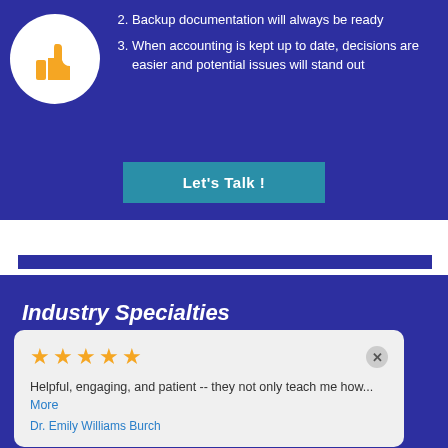[Figure (illustration): Thumbs up icon in orange on white circle background]
2. Backup documentation will always be ready
3. When accounting is kept up to date, decisions are easier and potential issues will stand out
Let's Talk !
Industry Specialties
Helpful, engaging, and patient -- they not only teach me how... More
Dr. Emily Williams Burch